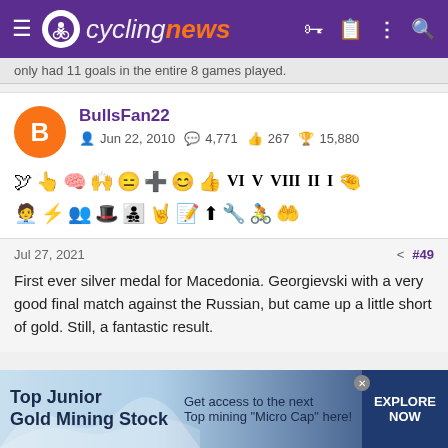cyclingnews
only had 11 goals in the entire 8 games played.
BullsFan22
Jun 22, 2010  4,771  267  15,880
Jul 27, 2021  #49
First ever silver medal for Macedonia. Georgievski with a very good final match against the Russian, but came up a little short of gold. Still, a fantastic result.
Top Junior Gold Mining Stock — Get access to the next Top mining "Micro Cap" here! EXPLORE NOW